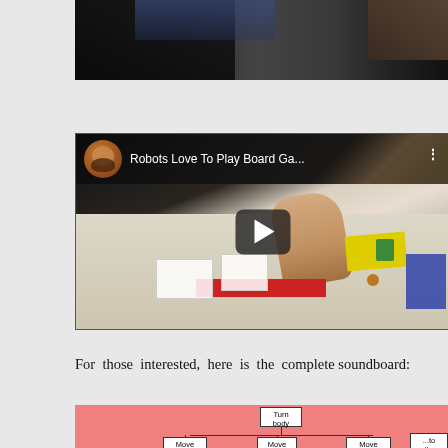[Figure (screenshot): Top portion of a video or screenshot showing dark background with person silhouette]
[Figure (screenshot): YouTube video thumbnail showing 'Robots Love To Play Board Ga...' with a play button overlay, showing a table with board game cards and a hand reaching over them. Avatar of a bearded man visible in top-left corner of the video bar.]
For those interested, here is the complete soundboard:
[Figure (infographic): Partial view of a soundboard diagram on a salmon/coral pink background showing a hierarchical tree structure with boxes: 'Turn body' at top, below it 'Move left hand', 'Move body', 'Move right hand', '...to other hand', and at the bottom level 'Turn left hand', 'Forward', 'Turn right hand']